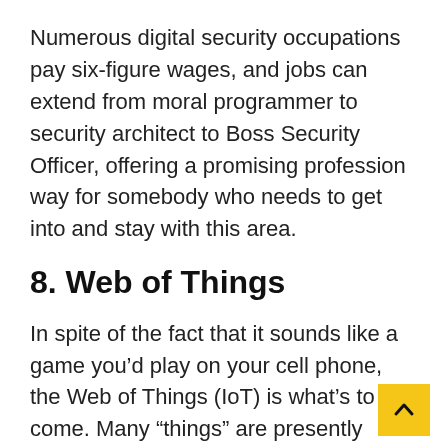Numerous digital security occupations pay six-figure wages, and jobs can extend from moral programmer to security architect to Boss Security Officer, offering a promising profession way for somebody who needs to get into and stay with this area.
8. Web of Things
In spite of the fact that it sounds like a game you'd play on your cell phone, the Web of Things (IoT) is what's to come. Many “things” are presently being worked with WiFi availability, which means they can be associated with the Web—and to one another. Consequently, the Web of Things, or I... IoT empowers gadgets, home apparatuses,